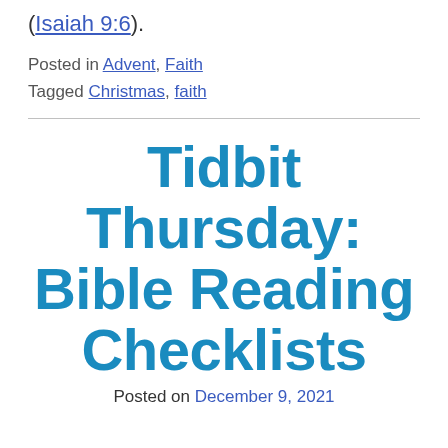(Isaiah 9:6).
Posted in Advent, Faith
Tagged Christmas, faith
Tidbit Thursday: Bible Reading Checklists
Posted on December 9, 2021